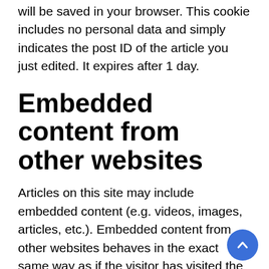will be saved in your browser. This cookie includes no personal data and simply indicates the post ID of the article you just edited. It expires after 1 day.
Embedded content from other websites
Articles on this site may include embedded content (e.g. videos, images, articles, etc.). Embedded content from other websites behaves in the exact same way as if the visitor has visited the other website.
These websites may collect data about you, use cookies, embed additional third-party tracking, and